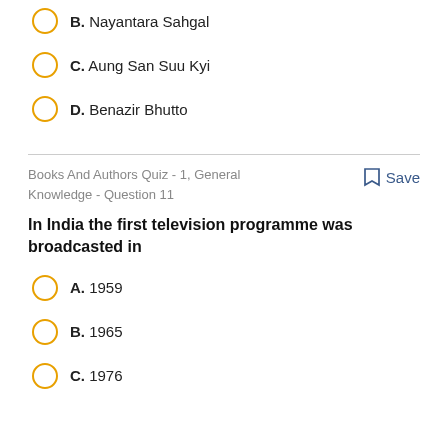B. Nayantara Sahgal
C. Aung San Suu Kyi
D. Benazir Bhutto
Books And Authors Quiz - 1, General Knowledge - Question 11
Save
In India the first television programme was broadcasted in
A. 1959
B. 1965
C. 1976